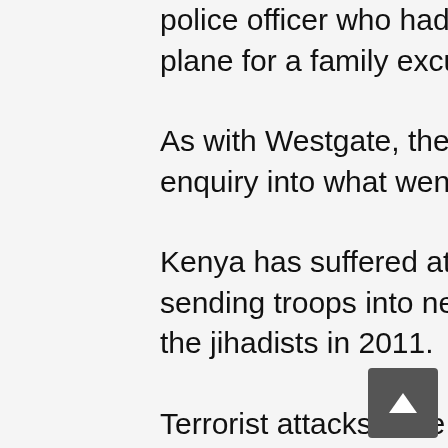police officer who had commandeered the force plane for a family excursion.
As with Westgate, there has been no public enquiry into what went wrong.
Kenya has suffered at the hands of Shebaab since sending troops into neighbouring Somalia to fight the jihadists in 2011.
Terrorist attacks have been frequent and deadly while in Somalia, Kenyan soldiers have been killed and their commanders accused of war profiteering through involvement in charcoal and sugar smuggling.
In January, Kenya suffered what is thought to be its worst-ever military loss when an army outpost in southern